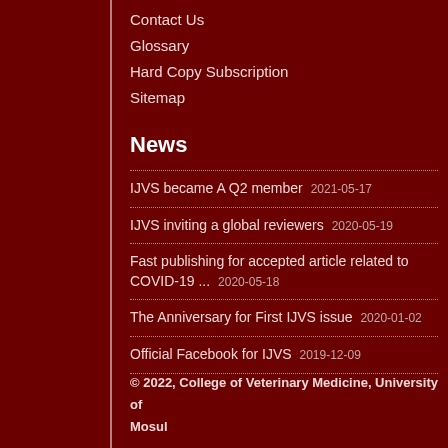Contact Us
Glossary
Hard Copy Subscription
Sitemap
News
IJVS became A Q2 member 2021-05-17
IJVS inviting a global reviewers 2020-05-19
Fast publishing for accepted article related to COVID-19 ... 2020-05-18
The Anniversary for First IJVS issue 2020-01-02
Official Facebook for IJVS 2019-12-09
© 2022, College of Veterinary Medicine, University of Mosul